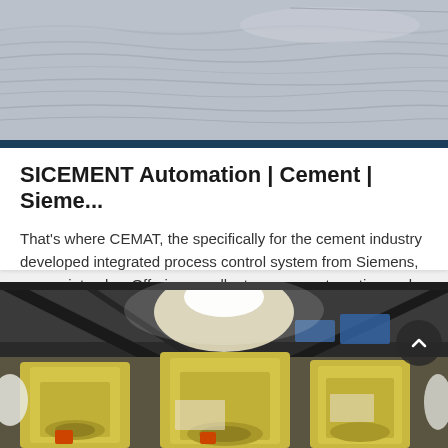[Figure (photo): Aerial or landscape photo showing water/sand rippled surface in grey tones]
SICEMENT Automation | Cement | Sieme...
That's where CEMAT, the specifically for the cement industry developed integrated process control system from Siemens, comes into play. Offering excellent process automation and...
[Figure (photo): Industrial factory interior showing large yellow grinding/milling machines in a cement plant]